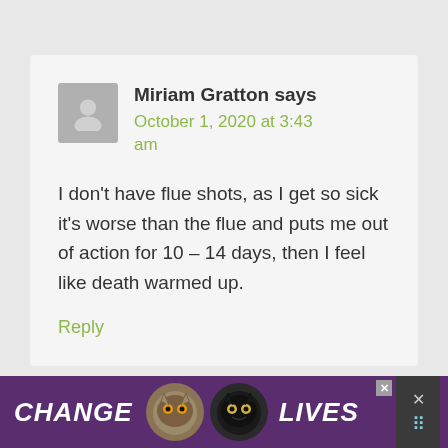Miriam Gratton says
October 1, 2020 at 3:43 am
I don't have flue shots, as I get so sick it's worse than the flue and puts me out of action for 10 – 14 days, then I feel like death warmed up.
Reply
[Figure (screenshot): Advertisement banner at the bottom showing 'CHANGE LIVES' text with two cat photos on a purple background]